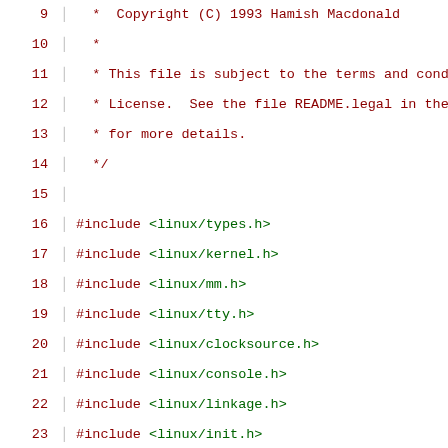Source code file showing copyright comment and #include directives for Linux kernel headers, lines 9-30
9   *  Copyright (C) 1993 Hamish Macdonald
10   *
11   * This file is subject to the terms and condit
12   * License.  See the file README.legal in the m
13   * for more details.
14   */
15
16   #include <linux/types.h>
17   #include <linux/kernel.h>
18   #include <linux/mm.h>
19   #include <linux/tty.h>
20   #include <linux/clocksource.h>
21   #include <linux/console.h>
22   #include <linux/linkage.h>
23   #include <linux/init.h>
24   #include <linux/major.h>
25   #include <linux/genhd.h>
26   #include <linux/rtc.h>
27   #include <linux/interrupt.h>
28
29   #include <asm/bootinfo.h>
30   #include <asm/bootinfo_vms.h>